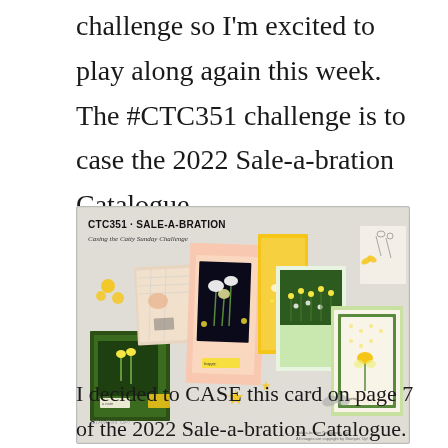challenge so I'm excited to play along again this week. The #CTC351 challenge is to case the 2022 Sale-a-bration Catalogue.
[Figure (photo): CTC351 - SALE-A-BRATION challenge banner image showing multiple handmade greeting cards featuring daffodil/spring flower designs in yellow, pink, and green colors arranged on a light gray background. Text reads 'CTC351 - SALE-A-BRATION' and 'Casing the Catty Sunday Challenge'. Stampin' Up! watermark visible.]
I decided to CASE this card on page 7 of the 2022 Sale-a-bration Catalogue.